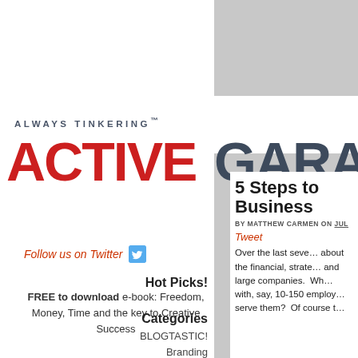ALWAYS TINKERING™
ACTIVE GARAGE
Follow us on Twitter
Hot Picks!
FREE to download e-book: Freedom, Money, Time and the key to Creative Success
Categories
BLOGTASTIC!
Branding
Business Strategy
5 Steps to Business
BY MATTHEW CARMEN ON JULY
Tweet
Over the last seve... about the financial, strate... and large companies. Wh... with, say, 10-150 employ... serve them? Of course t...